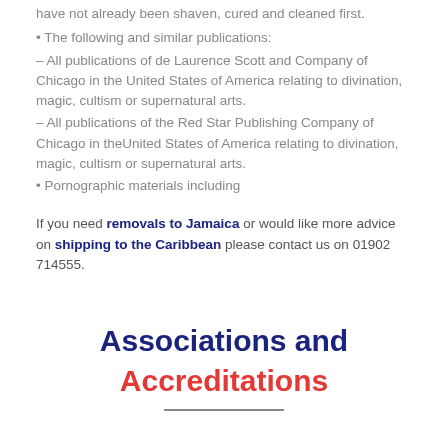have not already been shaven, cured and cleaned first.
• The following and similar publications:
– All publications of de Laurence Scott and Company of Chicago in the United States of America relating to divination, magic, cultism or supernatural arts.
– All publications of the Red Star Publishing Company of Chicago in theUnited States of America relating to divination, magic, cultism or supernatural arts.
• Pornographic materials including
If you need removals to Jamaica or would like more advice on shipping to the Caribbean please contact us on 01902 714555.
Associations and Accreditations